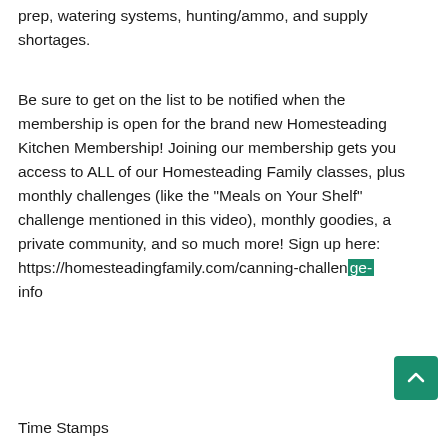prep, watering systems, hunting/ammo, and supply shortages.
Be sure to get on the list to be notified when the membership is open for the brand new Homesteading Kitchen Membership! Joining our membership gets you access to ALL of our Homesteading Family classes, plus monthly challenges (like the "Meals on Your Shelf" challenge mentioned in this video), monthly goodies, a private community, and so much more! Sign up here:
https://homesteadingfamily.com/canning-challenge-info
Time Stamps